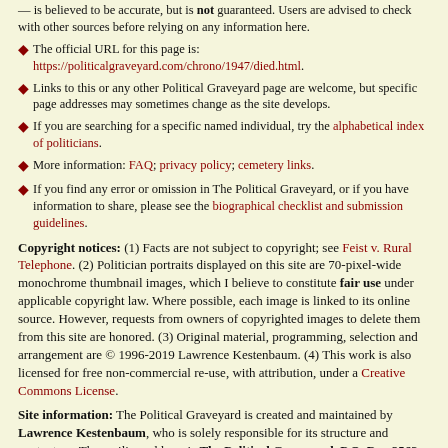— is believed to be accurate, but is not guaranteed. Users are advised to check with other sources before relying on any information here.
The official URL for this page is: https://politicalgraveyard.com/chrono/1947/died.html.
Links to this or any other Political Graveyard page are welcome, but specific page addresses may sometimes change as the site develops.
If you are searching for a specific named individual, try the alphabetical index of politicians.
More information: FAQ; privacy policy; cemetery links.
If you find any error or omission in The Political Graveyard, or if you have information to share, please see the biographical checklist and submission guidelines.
Copyright notices: (1) Facts are not subject to copyright; see Feist v. Rural Telephone. (2) Politician portraits displayed on this site are 70-pixel-wide monochrome thumbnail images, which I believe to constitute fair use under applicable copyright law. Where possible, each image is linked to its online source. However, requests from owners of copyrighted images to delete them from this site are honored. (3) Original material, programming, selection and arrangement are © 1996-2019 Lawrence Kestenbaum. (4) This work is also licensed for free non-commercial re-use, with attribution, under a Creative Commons License.
Site information: The Political Graveyard is created and maintained by Lawrence Kestenbaum, who is solely responsible for its structure and content. — The mailing address is The Political Graveyard, P.O. Box 2563, Ann Arbor MI 48106. — This site is hosted by HDL. — The Political Graveyard opened on July 1, 1996; the last full revision was done on May 10, 2022.